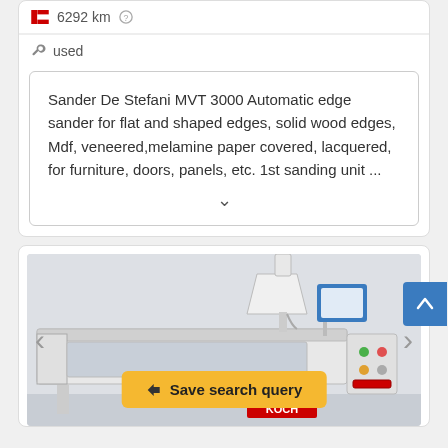6292 km
used
Sander De Stefani MVT 3000 Automatic edge sander for flat and shaped edges, solid wood edges, Mdf, veneered,melamine paper covered, lacquered, for furniture, doors, panels, etc. 1st sanding unit ...
[Figure (photo): Photo of a Koch industrial machine (edge banding or similar woodworking machine) in a white workshop setting, with a hopper and control panel visible. Navigation arrows on left and right. A yellow 'Save search query' button overlaid at the bottom center.]